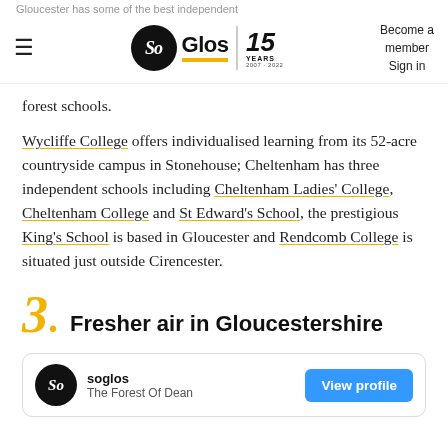Gloucester has some of the best independent
So Glos | 15 YEARS 2007-2022 | Become a member Sign in
forest schools.
Wycliffe College offers individualised learning from its 52-acre countryside campus in Stonehouse; Cheltenham has three independent schools including Cheltenham Ladies' College, Cheltenham College and St Edward's School, the prestigious King's School is based in Gloucester and Rendcomb College is situated just outside Cirencester.
3. Fresher air in Gloucestershire
soglos
The Forest Of Dean